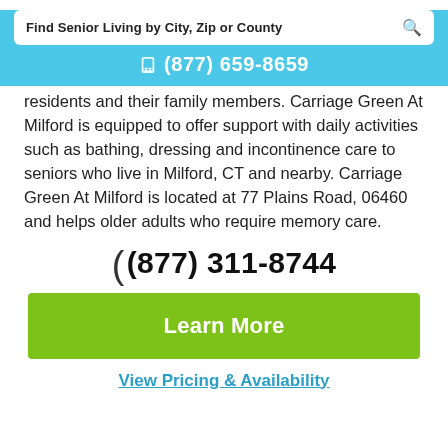Find Senior Living by City, Zip or County
(877) 659-8659
residents and their family members. Carriage Green At Milford is equipped to offer support with daily activities such as bathing, dressing and incontinence care to seniors who live in Milford, CT and nearby. Carriage Green At Milford is located at 77 Plains Road, 06460 and helps older adults who require memory care.
(877) 311-8744
Learn More
View Pricing & Availability